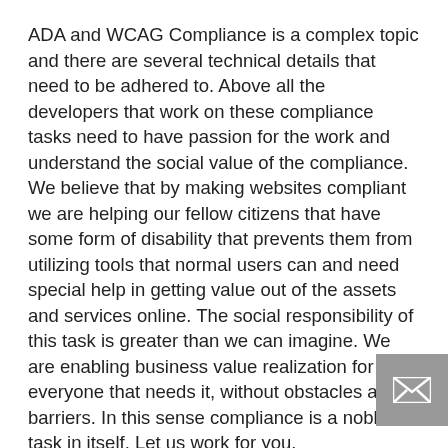ADA and WCAG Compliance is a complex topic and there are several technical details that need to be adhered to. Above all the developers that work on these compliance tasks need to have passion for the work and understand the social value of the compliance. We believe that by making websites compliant we are helping our fellow citizens that have some form of disability that prevents them from utilizing tools that normal users can and need special help in getting value out of the assets and services online. The social responsibility of this task is greater than we can imagine. We are enabling business value realization for everyone that needs it, without obstacles and barriers. In this sense compliance is a noble task in itself. Let us work for you.
Let the VGlobalTech team ensure that your online presence is not only compliant but exceeds expectations by delivering value to your users.
Please review the assets VGlobalTech team has